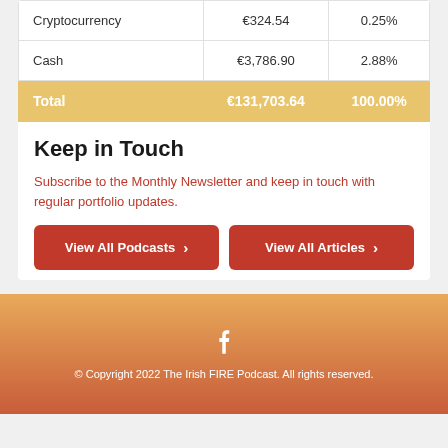| Cryptocurrency | €324.54 | 0.25% |
| Cash | €3,786.90 | 2.88% |
| Total | €131,703.64 | 100.00% |
Keep in Touch
Subscribe to the Monthly Newsletter and keep in touch with regular portfolio updates.
View All Podcasts
View All Articles
© Copyright 2022 The Irish FIRE Podcast. All rights reserved.